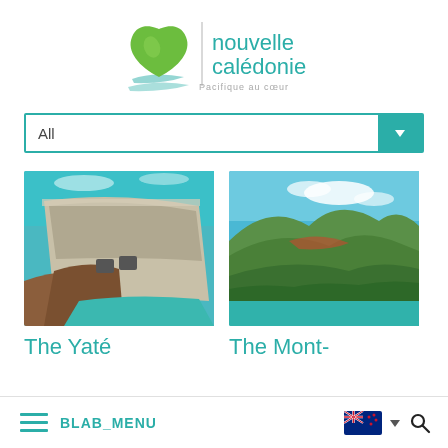[Figure (logo): Nouvelle Calédonie logo - green heart shape with 'nouvelle calédonie' text and tagline 'Pacifique au coeur']
[Figure (screenshot): Dropdown filter bar showing 'All' with teal chevron button]
[Figure (photo): Aerial photo of the Yaté dam in New Caledonia showing concrete dam wall, turquoise reservoir water]
The Yaté
[Figure (photo): Aerial photo of Mont- location in New Caledonia showing green mountains, coastal bay with turquoise water]
The Mont-
BLAB_MENU